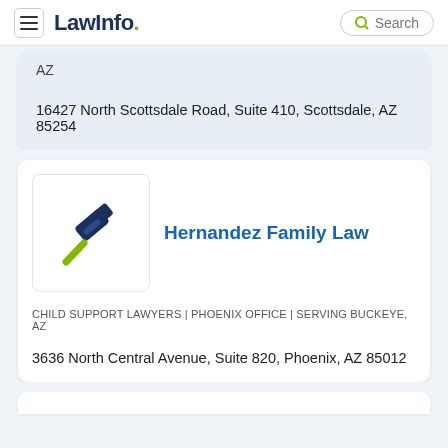LawInfo. Search
AZ
16427 North Scottsdale Road, Suite 410, Scottsdale, AZ 85254
[Figure (logo): LawInfo gavel logo icon - navy blue gavel with green handle]
Hernandez Family Law
CHILD SUPPORT LAWYERS  |  PHOENIX OFFICE  |  SERVING BUCKEYE, AZ
3636 North Central Avenue, Suite 820, Phoenix, AZ 85012